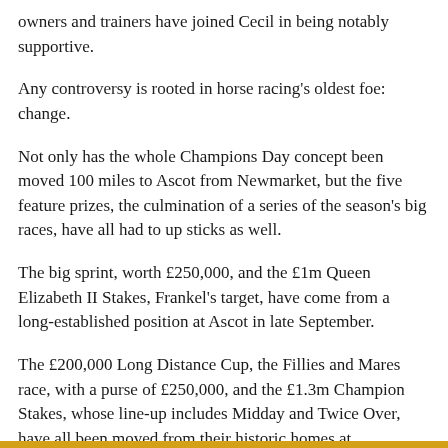owners and trainers have joined Cecil in being notably supportive.
Any controversy is rooted in horse racing's oldest foe: change.
Not only has the whole Champions Day concept been moved 100 miles to Ascot from Newmarket, but the five feature prizes, the culmination of a series of the season's big races, have all had to up sticks as well.
The big sprint, worth £250,000, and the £1m Queen Elizabeth II Stakes, Frankel's target, have come from a long-established position at Ascot in late September.
The £200,000 Long Distance Cup, the Fillies and Mares race, with a purse of £250,000, and the £1.3m Champion Stakes, whose line-up includes Midday and Twice Over, have all been moved from their historic homes at Newmarket.